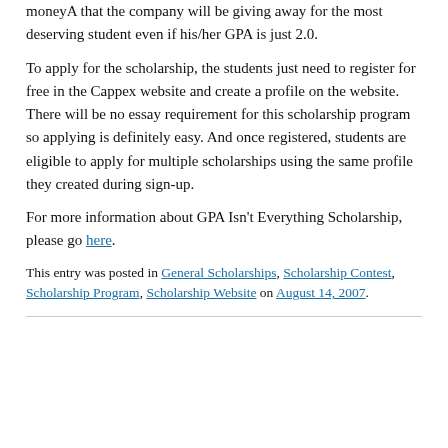moneyA that the company will be giving away for the most deserving student even if his/her GPA is just 2.0.
To apply for the scholarship, the students just need to register for free in the Cappex website and create a profile on the website. There will be no essay requirement for this scholarship program so applying is definitely easy. And once registered, students are eligible to apply for multiple scholarships using the same profile they created during sign-up.
For more information about GPA Isn't Everything Scholarship, please go here.
This entry was posted in General Scholarships, Scholarship Contest, Scholarship Program, Scholarship Website on August 14, 2007.